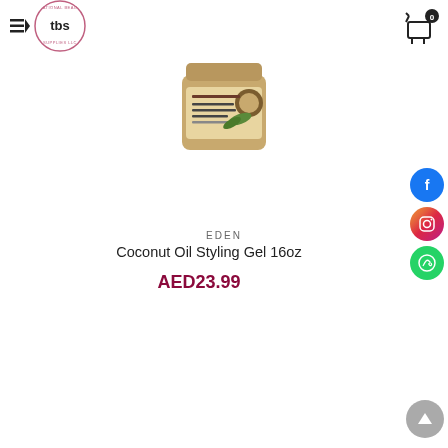[Figure (logo): TBS International Beauty Supplies LLC logo - circular pink logo with tbs text]
[Figure (photo): Product photo of Eden Coconut Oil Styling Gel 16oz jar with coconut imagery on label]
EDEN
Coconut Oil Styling Gel 16oz
AED23.99